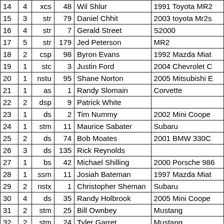| 14 | 4 | xcs | 48 | Wil Shlur | 1991 Toyota MR2 |
| 15 | 3 | str | 79 | Daniel Chhit | 2003 toyota Mr2s |
| 16 | 4 | str | 7 | Gerald Street | S2000 |
| 17 | 5 | str | 179 | Jed Peterson | MR2 |
| 18 | 2 | csp | 98 | Byron Evans | 1992 Mazda Miat |
| 19 | 1 | stc | 3 | Justin Ford | 2004 Chevrolet C |
| 20 | 1 | nstu | 95 | Shane Norton | 2005 Mitsubishi E |
| 21 | 1 | as | 1 | Randy Slomain | Corvette |
| 22 | 2 | dsp | 9 | Patrick White |  |
| 23 | 1 | ds | 2 | Tim Nummy | 2002 Mini Coope |
| 24 | 1 | stm | 11 | Maurice Sabater | Subaru |
| 25 | 2 | ds | 74 | Bob Moates | 2001 BMW 330C |
| 26 | 3 | ds | 135 | Rick Reynolds |  |
| 27 | 1 | bs | 42 | Michael Shilling | 2000 Porsche 986 |
| 28 | 1 | ssm | 11 | Josiah Bateman | 1997 Mazda Miat |
| 29 | 2 | nstx | 1 | Christopher Sheman | Subaru |
| 30 | 4 | ds | 35 | Randy Holbrook | 2005 Mini Coope |
| 31 | 2 | stm | 25 | Bill Ownbey | Mustang |
| 32 | 2 | stm | 24 | Tyler Garret | Mustang |